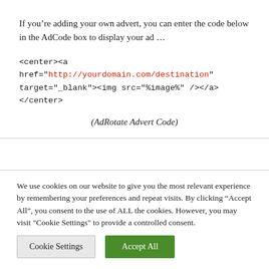If you’re adding your own advert, you can enter the code below in the AdCode box to display your ad …
<center><a href="http://yourdomain.com/destination" target="_blank"><img src="%image%" /></a></center>
(AdRotate Advert Code)
We use cookies on our website to give you the most relevant experience by remembering your preferences and repeat visits. By clicking “Accept All”, you consent to the use of ALL the cookies. However, you may visit "Cookie Settings" to provide a controlled consent.
Cookie Settings | Accept All